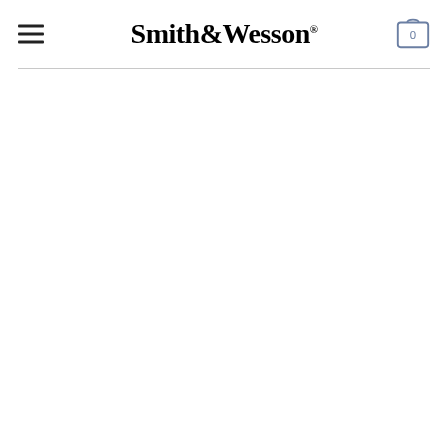Smith & Wesson®
[Figure (logo): Smith & Wesson logo in bold serif font with registered trademark symbol, hamburger menu icon on the left, and shopping cart icon with '0' on the right]